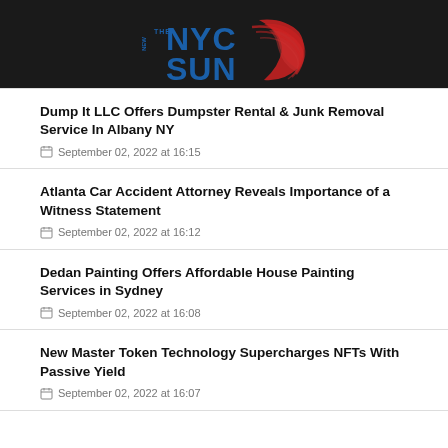NYC Sun logo
Dump It LLC Offers Dumpster Rental & Junk Removal Service In Albany NY
September 02, 2022 at 16:15
Atlanta Car Accident Attorney Reveals Importance of a Witness Statement
September 02, 2022 at 16:12
Dedan Painting Offers Affordable House Painting Services in Sydney
September 02, 2022 at 16:08
New Master Token Technology Supercharges NFTs With Passive Yield
September 02, 2022 at 16:07